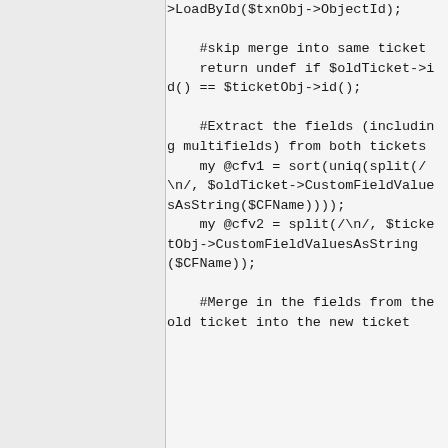>LoadById($txnObj->ObjectId);

    #skip merge into same ticket
    return undef if $oldTicket->id() == $ticketObj->id();

    #Extract the fields (including multifields) from both tickets
    my @cfv1 = sort(uniq(split(/\n/, $oldTicket->CustomFieldValuesAsString($CFName))));
    my @cfv2 = split(/\n/, $ticketObj->CustomFieldValuesAsString($CFName));

    #Merge in the fields from the old ticket into the new ticket